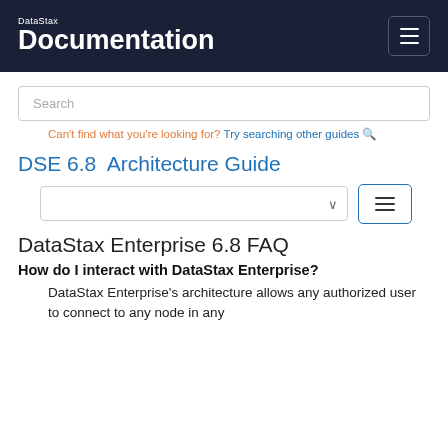DataStax Documentation
Search
Can't find what you're looking for? Try searching other guides
DSE 6.8  Architecture Guide
[Figure (screenshot): Dropdown selector and TOC toggle button]
DataStax Enterprise 6.8 FAQ
How do I interact with DataStax Enterprise?
DataStax Enterprise's architecture allows any authorized user to connect to any node in any datacenter and...